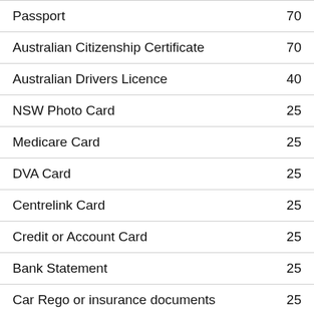| Document | Points |
| --- | --- |
| Passport | 70 |
| Australian Citizenship Certificate | 70 |
| Australian Drivers Licence | 40 |
| NSW Photo Card | 25 |
| Medicare Card | 25 |
| DVA Card | 25 |
| Centrelink Card | 25 |
| Credit or Account Card | 25 |
| Bank Statement | 25 |
| Car Rego or insurance documents | 25 |